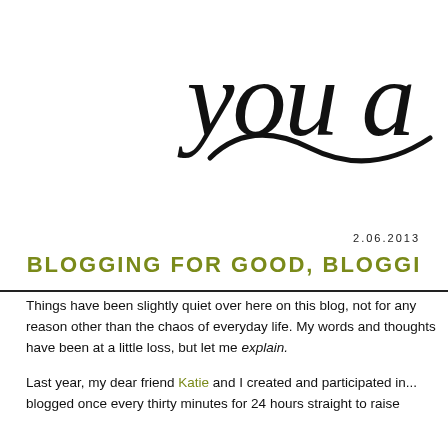[Figure (illustration): Decorative cursive script reading 'you a' with a hand-drawn swoosh/tilde underline decoration, in black ink style on white background. Text is cropped at right edge.]
2.06.2013
BLOGGING FOR GOOD, BLOGGI
Things have been slightly quiet over here on this blog, not for any reason other than the chaos of everyday life. My words and thoughts have been at a li... explain.
Last year, my dear friend Katie and I created and participated in... blogged once every thirty minutes for 24 hours straight to rais...